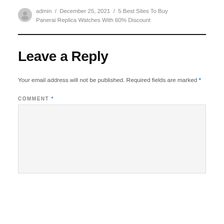admin / December 25, 2021 / 5 Best Sites To Buy Panerai Replica Watches With 60% Discount
Leave a Reply
Your email address will not be published. Required fields are marked *
COMMENT *